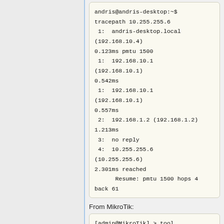[Figure (screenshot): Terminal output showing tracepath command to 10.255.255.6 with hop results including andris-desktop.local, 192.168.10.1, 192.168.1.2, no reply, and 10.255.255.6 reached with Resume summary]
From MikroTik:
[Figure (screenshot): MikroTik terminal showing tool traceroute 10.255.255.1 command with ADDRESS and STATUS columns (partial, cut off)]